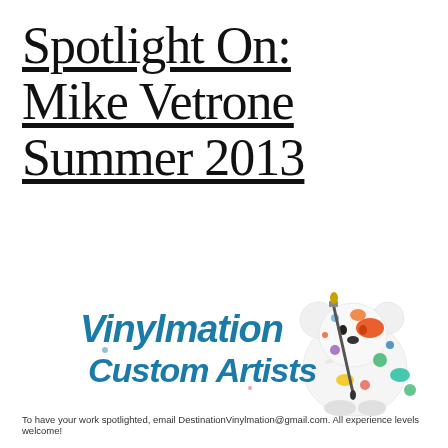Spotlight On: Mike Vetrone Summer 2013
[Figure (logo): Vinylmation Custom Artists logo with a paint-splattered Mickey Mouse-style vinyl figure holding a paintbrush, and stylized teal brush-lettered text reading 'Vinylmation Custom Artists']
To have your work spotlighted, email DestinationVinylmation@gmail.com. All experience levels welcome!